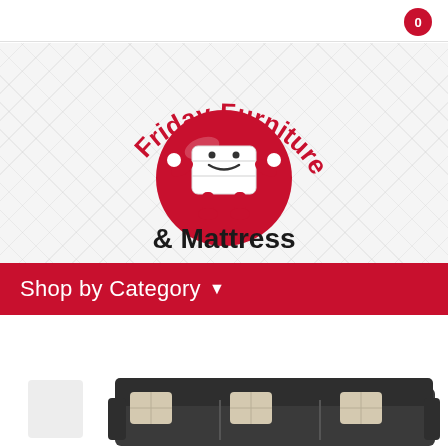0
[Figure (logo): Friday Furniture & Mattress logo: red circle with a smiling mattress character, text 'Friday Furniture' in red arc above and '& Mattress' in black below]
Shop by Category ▾
[Figure (photo): Dark charcoal/black leather sectional sofa with decorative throw pillows, partially visible at bottom of page]